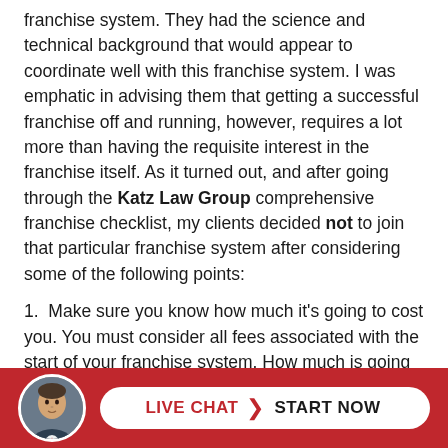franchise system. They had the science and technical background that would appear to coordinate well with this franchise system. I was emphatic in advising them that getting a successful franchise off and running, however, requires a lot more than having the requisite interest in the franchise itself. As it turned out, and after going through the Katz Law Group comprehensive franchise checklist, my clients decided not to join that particular franchise system after considering some of the following points:
1.  Make sure you know how much it's going to cost you. You must consider all fees associated with the start of your franchise system. How much is going to cost you to get all the necessary permits, licenses, and approvals to start your operation? What is the specific franchise fee for entering the system? You will also need to purchase the r...
[Figure (other): Red footer bar with circular avatar photo of a man in a suit, and a white pill-shaped button reading 'LIVE CHAT > START NOW']